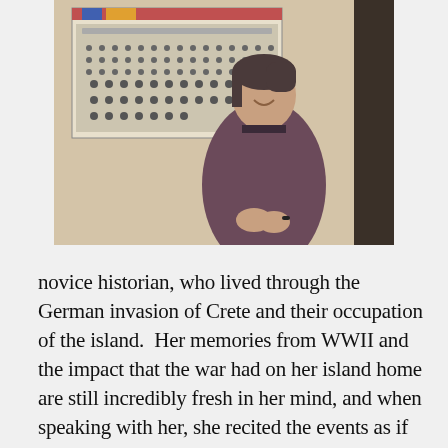[Figure (photo): An elderly woman smiling, standing in front of a large black-and-white group photograph mounted on the wall. She is wearing a dark brownish-purple top and has her hands clasped in front of her.]
novice historian, who lived through the German invasion of Crete and their occupation of the island.  Her memories from WWII and the impact that the war had on her island home are still incredibly fresh in her mind, and when speaking with her, she recited the events as if they had happened